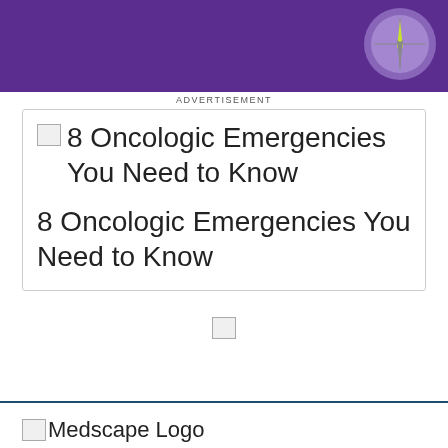[Figure (illustration): Purple banner with compass graphic in top right corner]
ADVERTISEMENT
[Figure (illustration): Card with broken image thumbnail and title: 8 Oncologic Emergencies You Need to Know]
8 Oncologic Emergencies You Need to Know
[Figure (illustration): Small broken image icon centered on page]
[Figure (logo): Medscape Logo broken image placeholder with text 'Medscape Logo']